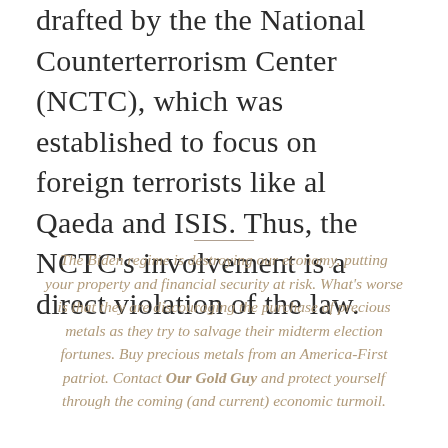drafted by the the National Counterterrorism Center (NCTC), which was established to focus on foreign terrorists like al Qaeda and ISIS. Thus, the NCTC's involvement is a direct violation of the law.
The Biden regime is destroying our economy, putting your property and financial security at risk. What's worse is that they are discouraging the purchase of precious metals as they try to salvage their midterm election fortunes. Buy precious metals from an America-First patriot. Contact Our Gold Guy and protect yourself through the coming (and current) economic turmoil.